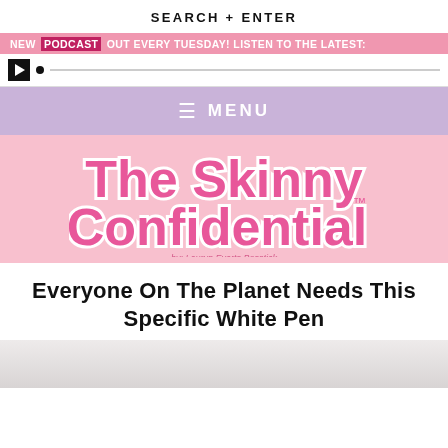SEARCH + ENTER
NEW PODCAST OUT EVERY TUESDAY! LISTEN TO THE LATEST:
[Figure (screenshot): Audio player bar with play button and scrubber]
≡  MENU
[Figure (logo): The Skinny Confidential logo by Lauryn Evarts Bosstick]
Everyone On The Planet Needs This Specific White Pen
[Figure (photo): Partial image at bottom of page]